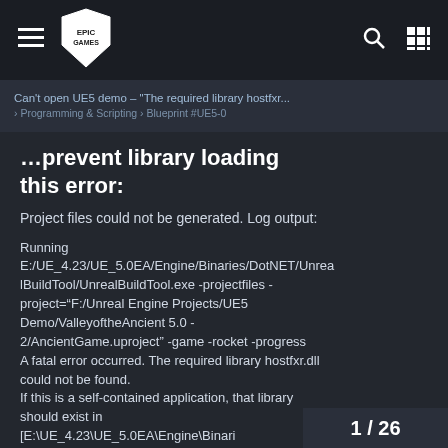Can't open UE5 demo – "The required library hostfxr... › Programming & Scripting › Blueprint #UE5-0
...prevent library loading this error:
Project files could not be generated. Log output:

Running E:/UE_4.23/UE_5.0EA/Engine/Binaries/DotNET/UnrealBuildTool/UnrealBuildTool.exe -projectfiles -project="F:/Unreal Engine Projects/UE5 Demo/ValleyoftheAncient 5.0 - 2/AncientGame.uproject" -game -rocket -progress
A fatal error occurred. The required library hostfxr.dll could not be found.
If this is a self-contained application, that library should exist in [E:\UE_4.23\UE_5.0EA\Engine\Binari
1 / 26